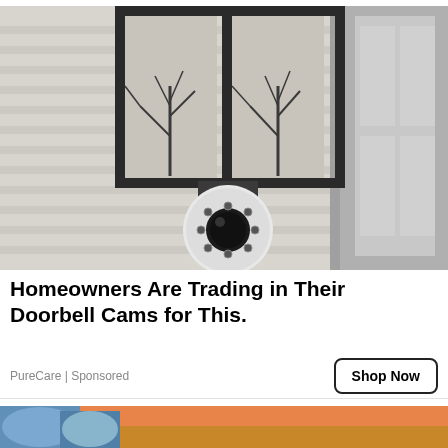[Figure (photo): A white security camera mounted under a black metal porch lantern fixture on the exterior wall of a house. The camera has a dome shape with visible LED lights around the lens. The background shows a gray/beige house siding and a window or door frame on the right.]
Homeowners Are Trading in Their Doorbell Cams for This.
PureCare | Sponsored
[Figure (photo): Partial view of a second advertisement image showing what appears to be blue and orange objects on a wooden surface, cropped at the bottom of the page.]